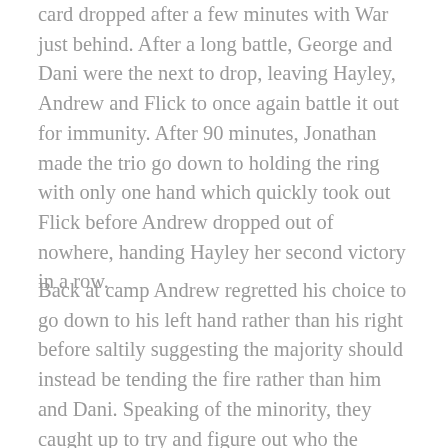card dropped after a few minutes with War just behind. After a long battle, George and Dani were the next to drop, leaving Hayley, Andrew and Flick to once again battle it out for immunity. After 90 minutes, Jonathan made the trio go down to holding the ring with only one hand which quickly took out Flick before Andrew dropped out of nowhere, handing Hayley her second victory in a row.
Back at camp Andrew regretted his choice to go down to his left hand rather than his right before saltily suggesting the majority should instead be tending the fire rather than him and Dani. Speaking of the minority, they caught up to try and figure out who the majority would target with each of them listing compelling reasons why it would be them. As such, they locked in their votes for George and as such, Dani